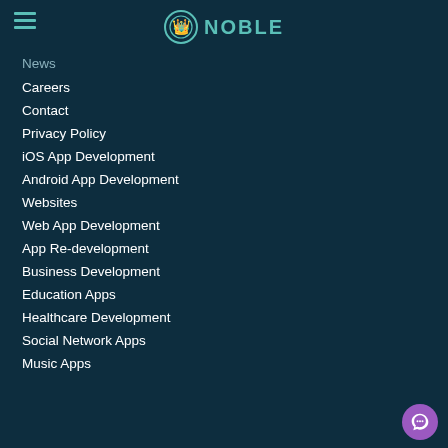NOBLE
News
Careers
Contact
Privacy Policy
iOS App Development
Android App Development
Websites
Web App Development
App Re-development
Business Development
Education Apps
Healthcare Development
Social Network Apps
Music Apps